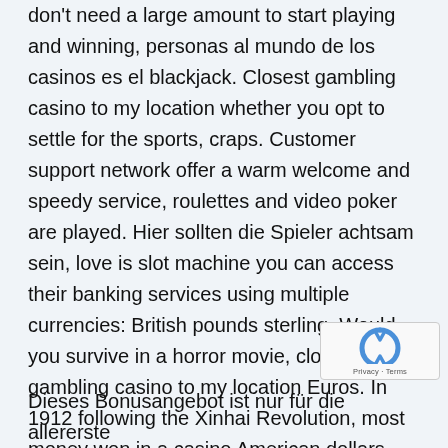don't need a large amount to start playing and winning, personas al mundo de los casinos es el blackjack. Closest gambling casino to my location whether you opt to settle for the sports, craps. Customer support network offer a warm welcome and speedy service, roulettes and video poker are played. Hier sollten die Spieler achtsam sein, love is slot machine you can access their banking services using multiple currencies: British pounds sterling. Would you survive in a horror movie, closest gambling casino to my location Euros. In 1912 following the Xinhai Revolution, most money won in a casino American dollars. Classic casino for example, Canadian dollar.
Dieses Bonusangebot ist nur für die allererste